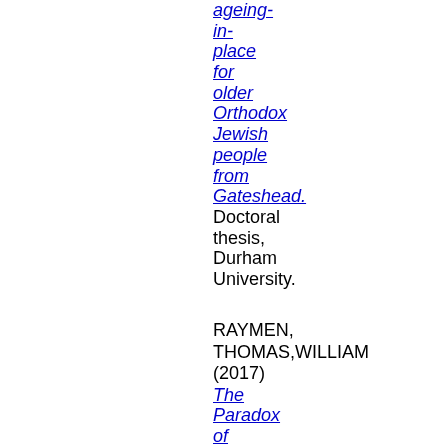ageing-in-place for older Orthodox Jewish people from Gateshead. Doctoral thesis, Durham University.
RAYMEN, THOMAS,WILLIAM (2017) The Paradox of Parkour: